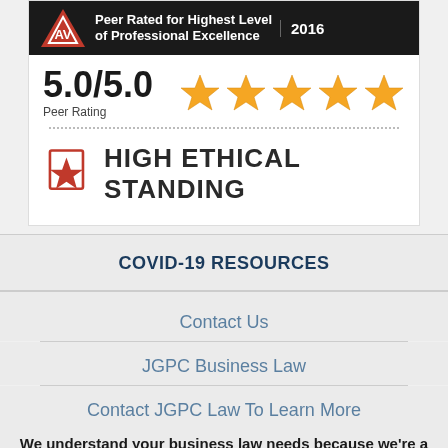[Figure (logo): AV Martindale-Hubbell Peer Rated for Highest Level of Professional Excellence 2016 badge with 5.0/5.0 Peer Rating and five gold stars, plus High Ethical Standing logo]
COVID-19 RESOURCES
Contact Us
JGPC Business Law
Contact JGPC Law To Learn More
We understand your business law needs because we're a local